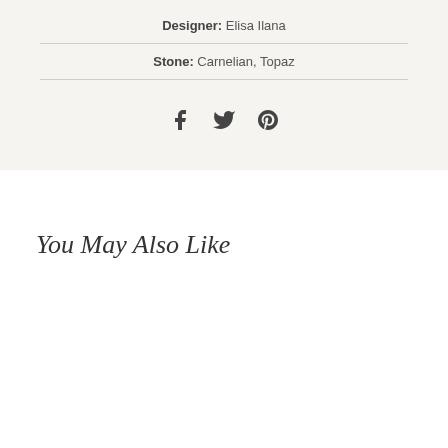Designer: Elisa Ilana
Stone: Carnelian, Topaz
[Figure (other): Social media icons: Facebook, Twitter, Pinterest]
You May Also Like